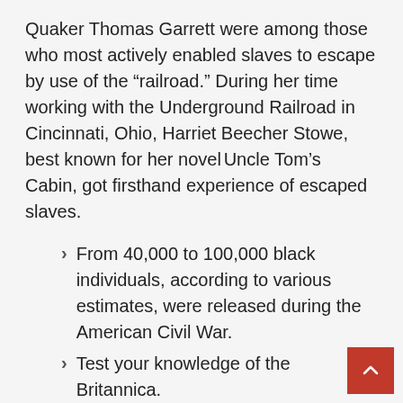Quaker Thomas Garrett were among those who most actively enabled slaves to escape by use of the “railroad.” During her time working with the Underground Railroad in Cincinnati, Ohio, Harriet Beecher Stowe, best known for her novel Uncle Tom’s Cabin, got firsthand experience of escaped slaves.
From 40,000 to 100,000 black individuals, according to various estimates, were released during the American Civil War.
Test your knowledge of the Britannica.
The first time a president of the United States appeared on television was in the year 1960.